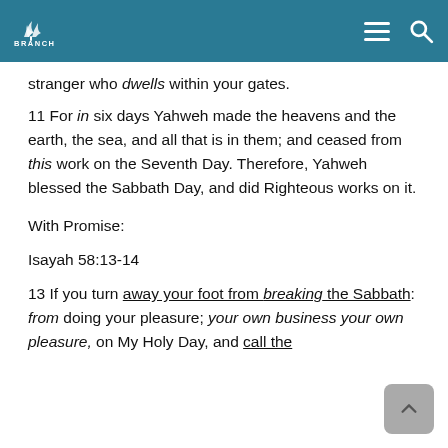BRANCH
stranger who dwells within your gates.
11 For in six days Yahweh made the heavens and the earth, the sea, and all that is in them; and ceased from this work on the Seventh Day. Therefore, Yahweh blessed the Sabbath Day, and did Righteous works on it.
With Promise:
Isayah 58:13-14
13 If you turn away your foot from breaking the Sabbath: from doing your pleasure; your own business your own pleasure, on My Holy Day, and call the